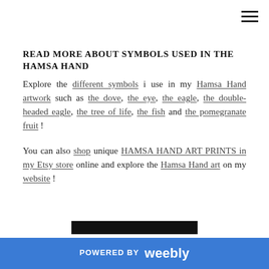READ MORE ABOUT SYMBOLS USED IN THE HAMSA HAND
Explore the different symbols i use in my Hamsa Hand artwork such as the dove, the eye, the eagle, the double-headed eagle, the tree of life, the fish and the pomegranate fruit !
You can also shop unique HAMSA HAND ART PRINTS in my Etsy store online and explore the Hamsa Hand art on my website !
[Figure (photo): Partial image visible at bottom of page]
POWERED BY weebly